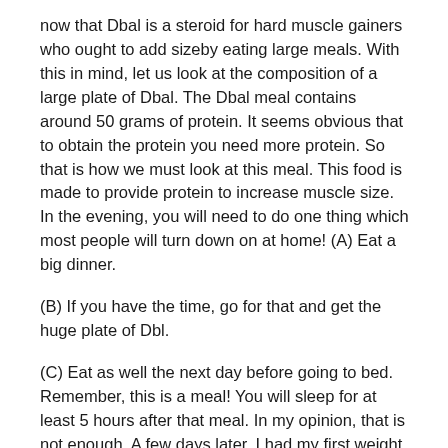now that Dbal is a steroid for hard muscle gainers who ought to add sizeby eating large meals. With this in mind, let us look at the composition of a large plate of Dbal. The Dbal meal contains around 50 grams of protein. It seems obvious that to obtain the protein you need more protein. So that is how we must look at this meal. This food is made to provide protein to increase muscle size. In the evening, you will need to do one thing which most people will turn down on at home! (A) Eat a big dinner.
(B) If you have the time, go for that and get the huge plate of Dbl.
(C) Eat as well the next day before going to bed. Remember, this is a meal! You will sleep for at least 5 hours after that meal. In my opinion, that is not enough. A few days later, I had my first weight loss of over 100kg